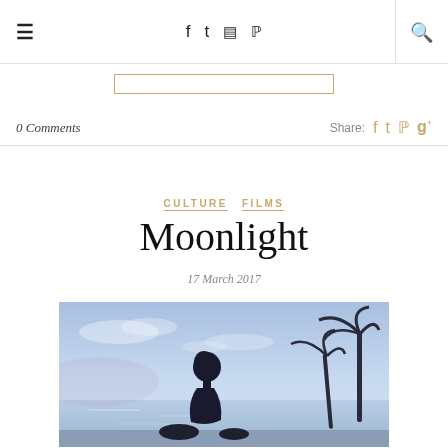☰  f  🐦  📷  𝗣  🔍
0 Comments   Share: f 🐦 𝗣 g+
CULTURE   FILMS
Moonlight
17 March 2017
[Figure (photo): Silhouette of a child looking upward against a twilight blue sky with palm trees in the background, near a body of water — a still from the film Moonlight.]